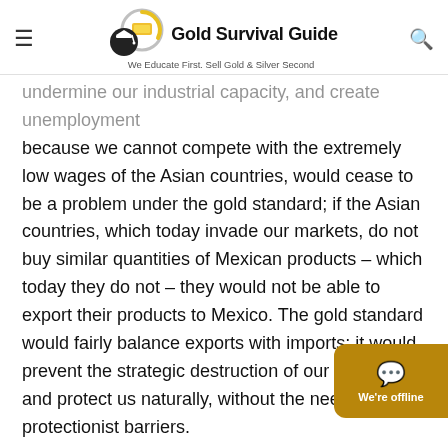Gold Survival Guide — We Educate First. Sell Gold & Silver Second
undermine our industrial capacity, and create unemployment because we cannot compete with the extremely low wages of the Asian countries, would cease to be a problem under the gold standard; if the Asian countries, which today invade our markets, do not buy similar quantities of Mexican products – which today they do not – they would not be able to export their products to Mexico. The gold standard would fairly balance exports with imports; it would prevent the strategic destruction of our industry and protect us naturally, without the need for protectionist barriers.
The same therapy Mexico needs – the restoration of the gold standard – is what the world requires to regain economic health and sustainable prosperity.
Under a restored gold standard, Americans will not be able to